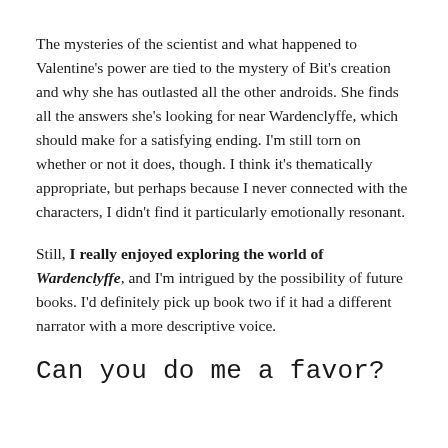The mysteries of the scientist and what happened to Valentine's power are tied to the mystery of Bit's creation and why she has outlasted all the other androids. She finds all the answers she's looking for near Wardenclyffe, which should make for a satisfying ending. I'm still torn on whether or not it does, though. I think it's thematically appropriate, but perhaps because I never connected with the characters, I didn't find it particularly emotionally resonant.
Still, I really enjoyed exploring the world of Wardenclyffe, and I'm intrigued by the possibility of future books. I'd definitely pick up book two if it had a different narrator with a more descriptive voice.
Can you do me a favor?